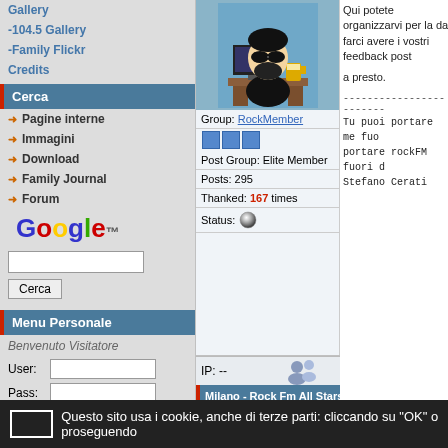Gallery
-104.5 Gallery
-Family Flickr
Credits
Cerca
Pagine interne
Immagini
Download
Family Journal
Forum
[Figure (logo): Google logo]
Menu Personale
Benvenuto Visitatore
User:
Pass:
Anonimo
[Figure (illustration): South Park style avatar with sunglasses]
Group: RockMember
Post Group: Elite Member
Posts: 295
Thanked: 167 times
Status:
IP: --
Qui potete organizzarvi per la da farci avere i vostri feedback post a presto.
------------------------
Tu puoi portare me fuo portare rockFM fuori d Stefano Cerati
Milano - Rock Fm All Stars Band Farewell tour
-16-
# April 27, 2008, 10:04 am | Pos
[Figure (illustration): User avatar blobs/flowers]
Tappa finale??????????????? :cry
Stai scherzando?
E quella a pisa??
Cancellata?
Non potete liberarvi di me così...
Group: Member
Post Group: Super Member
Posts: 1557
Questo sito usa i cookie, anche di terze parti: cliccando su "OK" o proseguendo